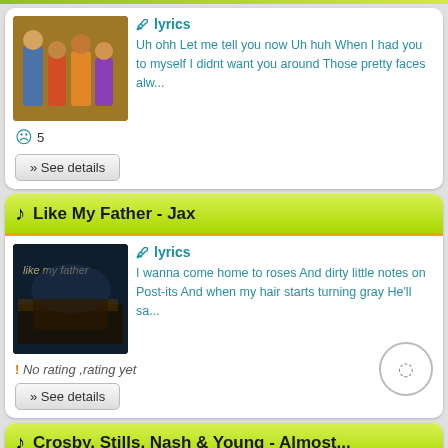[Figure (screenshot): Card 1: partial song card at top with thumbnail of people in colorful outfits, lyrics text, sad face rating of 5, See details button]
Like My Father - Jax
[Figure (screenshot): Thumbnail for Like My Father by Jax, dark moody image with text overlay]
lyrics: I wanna come home to roses And dirty little notes on Post-its And when my hair starts turning gray He'll sa...
No rating ,rating yet
» See details
Crosby, Stills, Nash & Young - Almost...
lyrics